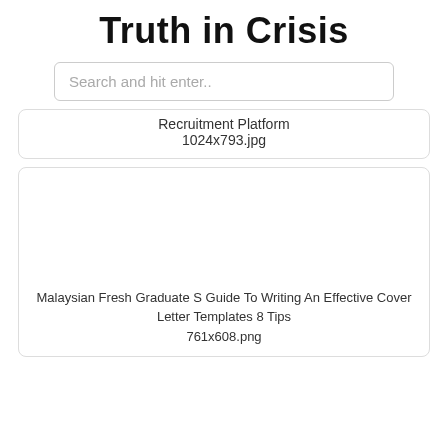Truth in Crisis
Search and hit enter..
Recruitment Platform
1024x793.jpg
Malaysian Fresh Graduate S Guide To Writing An Effective Cover Letter Templates 8 Tips
761x608.png